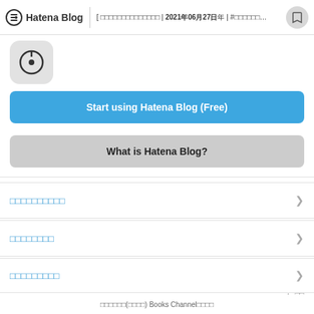Hatena Blog [ □□□□□□□□□□□□□□ | 2021年06月27日 | #□□□□□□... ]
[Figure (logo): Hatena Blog app icon - circular pen nib logo on light gray rounded square background]
Start using Hatena Blog (Free)
What is Hatena Blog?
□□□□□□□□□□
□□□□□□□□
□□□□□□□□□
□□□□□□(□□□□) Books Channel□□□□